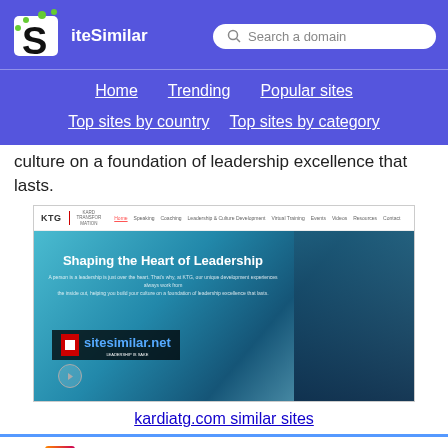[Figure (screenshot): SiteSimilar website header with logo, search bar, and navigation links: Home, Trending, Popular sites, Top sites by country, Top sites by category]
culture on a foundation of leadership excellence that lasts.
[Figure (screenshot): Screenshot of kardiatg.com website showing KTG logo, navigation bar, and a background image with a man speaking at a conference with heading 'Shaping the Heart of Leadership' and sitesimilar.net watermark]
kardiatg.com similar sites
57.
[Figure (logo): insigneo.com favicon/logo in orange-pink gradient]
insigneo.com